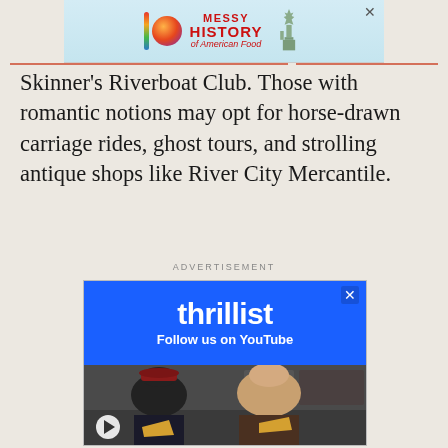[Figure (other): Top advertisement banner for 'Messy History of American Food' featuring a colorful stripe logo, orange sphere, red bold text, and Statue of Liberty illustration on a light blue background]
Skinner's Riverboat Club. Those with romantic notions may opt for horse-drawn carriage rides, ghost tours, and strolling antique shops like River City Mercantile.
ADVERTISEMENT
[Figure (other): Thrillist advertisement with blue background showing 'thrillist' logo text and 'Follow us on YouTube' text, below which are two people eating pizza in a restaurant setting]